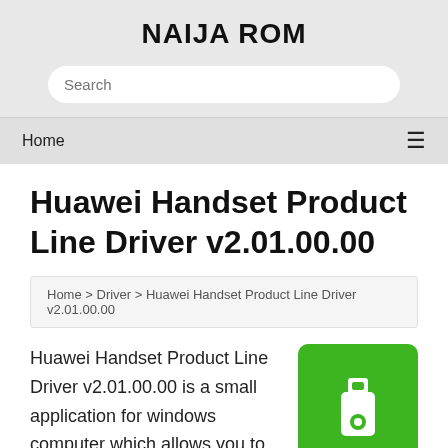NAIJA ROM
Search
Home
Huawei Handset Product Line Driver v2.01.00.00
Home > Driver > Huawei Handset Product Line Driver v2.01.00.00
[Figure (logo): Green square icon with a USB drive symbol in white]
Huawei Handset Product Line Driver v2.01.00.00 is a small application for windows computer which allows you to install the Huawei driver on your PC. It also allows you to use flash tool on your PC to flash your Huawei